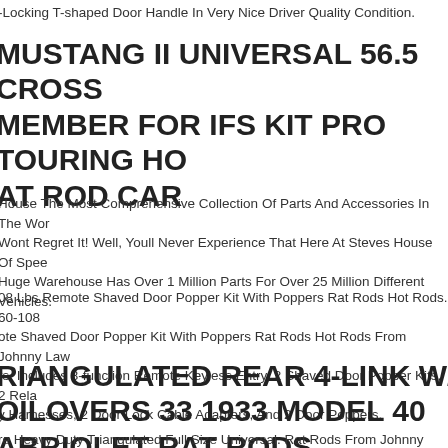-Locking T-shaped Door Handle In Very Nice Driver Quality Condition.
MUSTANG II UNIVERSAL 56.5 CROSS MEMBER FOR IFS KIT PRO TOURING HOT ROD CAR
House The Most Comprehensive Collection Of Parts And Accessories In The World Wont Regret It! Well, Youll Never Experience That Here At Steves House Of Speed. Huge Warehouse Has Over 1 Million Parts For Over 25 Million Different Vehicles.
08 Lbs Remote Shaved Door Popper Kit With Poppers Rat Rods Hot Rods. 60-108 ote Shaved Door Popper Kit With Poppers Rat Rods Hot Rods From Johnny Law rs. Includes 8-function Remote Keyless Entry, 2 Shaved Door Popper Kits, 2 Relay Harnesses, 2 Door Lock Cable Adapters, And 2 Door Poppers.
TRIANGULATED REAR 4-LINK W/ COILOVERS 33 1933 MODEL 40 CABRIOLET RAT RODS
re Heavy Duty Triangulated Full Size Universal. Rat Rods From Johnny Law Moto... More Have More Mounting Length 373 Color Silver Finish Polished...